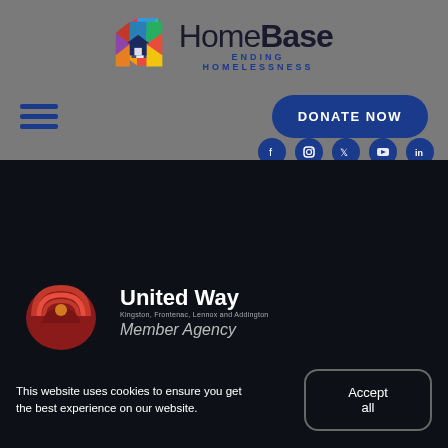[Figure (logo): HomeBase Ending Homelessness logo with colorful diamond/house icon on the left and HomeBase text with ENDING HOMELESSNESS subtitle on the right]
[Figure (other): Navigation row with hamburger menu icon on the left and DONATE NOW blue rounded button on the right]
[Figure (other): Social media icons row on the right: Facebook, Instagram, Twitter/X, YouTube, LinkedIn - all in dark blue circles]
[Figure (other): Dark navy background section with United Way Kingston, Frontenac, Lennox and Addington Member Agency logo]
This website uses cookies to ensure you get the best experience on our website.
Accept all